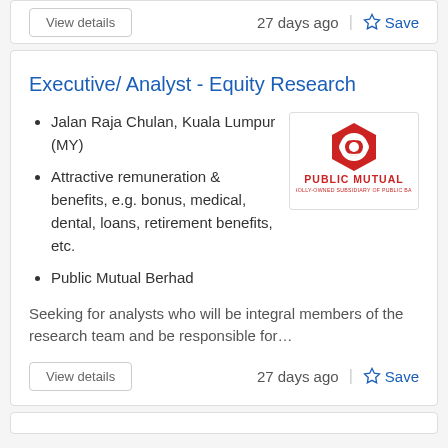27 days ago
Save
Executive/ Analyst - Equity Research
Jalan Raja Chulan, Kuala Lumpur (MY)
Attractive remuneration & benefits, e.g. bonus, medical, dental, loans, retirement benefits, etc.
Public Mutual Berhad
[Figure (logo): Public Mutual logo - red hexagonal icon with white design, red text PUBLIC MUTUAL, smaller text WHOLLY-OWNED SUBSIDIARY OF PUBLIC BANK]
Seeking for analysts who will be integral members of the research team and be responsible for…
27 days ago
Save